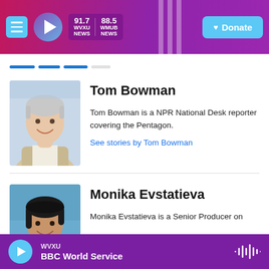91.7 WVXU NEWS | 88.5 WMUB NEWS | Donate
[Figure (photo): Headshot of Tom Bowman, older man with white/grey hair, smiling, wearing a light beige blazer]
Tom Bowman
Tom Bowman is a NPR National Desk reporter covering the Pentagon.
See stories by Tom Bowman
[Figure (photo): Headshot of Monika Evstatieva, young woman with dark hair, smiling, wearing a light yellow top]
Monika Evstatieva
Monika Evstatieva is a Senior Producer on
WVXU BBC World Service